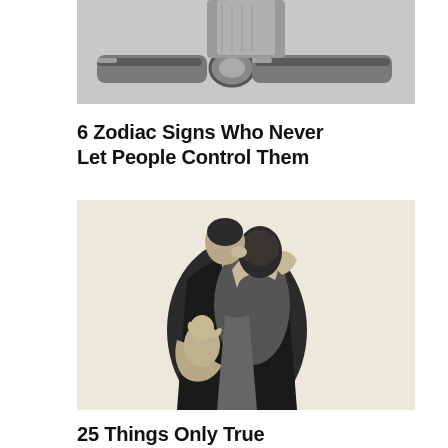[Figure (photo): Close-up black and white photo of a metal clasp or buckle on a bag/belt strap]
6 Zodiac Signs Who Never Let People Control Them
[Figure (photo): Black and white vintage photo of a couple embracing and kissing, the woman wearing a short dress with her arms around the man's neck]
25 Things Only True Gentlemen Do